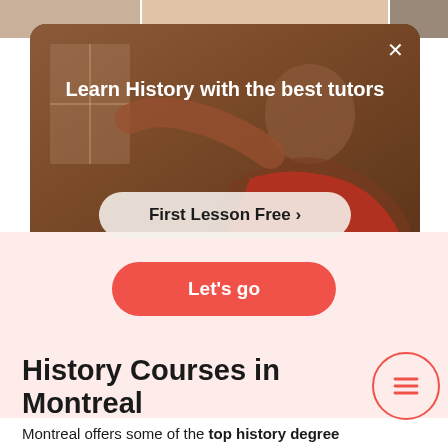[Figure (screenshot): Top strip showing partial profile photos of tutors at the top of the page]
[Figure (photo): Dark-toned promotional modal overlay showing a tutor in the background with warm brown tones]
Learn History with the best tutors
First Lesson Free >
Let's go
History Courses in Montreal
Montreal offers some of the top history degree